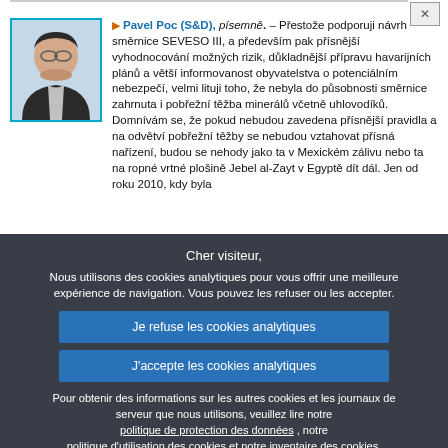Pavel Poc (S&D), písemně. – Přestože podporuji návrh směrnice SEVESO III, a především pak přísnější vyhodnocování možných rizik, důkladnější přípravu havarijních plánů a větší informovanost obyvatelstva o potenciálním nebezpečí, velmi lituji toho, že nebyla do působnosti směrnice zahrnuta i pobřežní těžba minerálů včetně uhlovodíků. Domnívám se, že pokud nebudou zavedena přísnější pravidla a na odvětví pobřežní těžby se nebudou vztahovat přísná nařízení, budou se nehody jako ta v Mexickém zálivu nebo ta na ropné vrtné plošině Jebel al-Zayt v Egyptě dít dál. Jen od roku 2010, kdy byla
Cher visiteur,
Nous utilisons des cookies analytiques pour vous offrir une meilleure expérience de navigation. Vous pouvez les refuser ou les accepter.
Je refuse les cookies analytiques
J'accepte les cookies analytiques
Pour obtenir des informations sur les autres cookies et les journaux de serveur que nous utilisons, veuillez lire notre politique de protection des données , notre politique d'utilisation des cookies et notre inventaire des cookies.